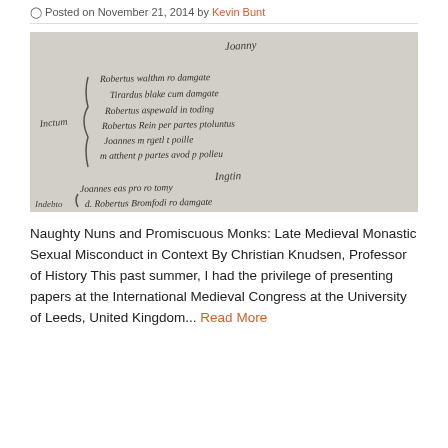Posted on November 21, 2014 by Kevin Bunt
[Figure (photo): Scanned medieval manuscript page showing handwritten Latin text in cursive script, black ink on aged parchment, with a curly brace on the left side grouping several lines of text.]
Naughty Nuns and Promiscuous Monks: Late Medieval Monastic Sexual Misconduct in Context By Christian Knudsen, Professor of History This past summer, I had the privilege of presenting papers at the International Medieval Congress at the University of Leeds, United Kingdom... Read More